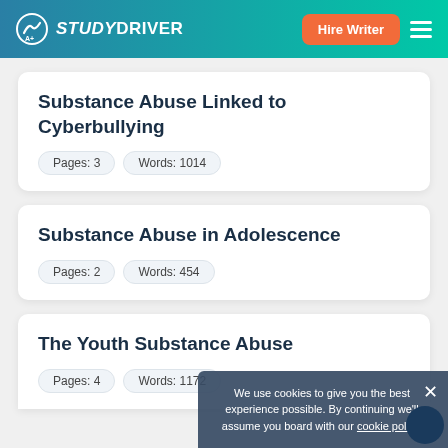STUDYDRIVER — Hire Writer
Substance Abuse Linked to Cyberbullying
Pages: 3   Words: 1014
Substance Abuse in Adolescence
Pages: 2   Words: 454
The Youth Substance Abuse
Pages: 4   Words: 1172
We use cookies to give you the best experience possible. By continuing we'll assume you board with our cookie policy.